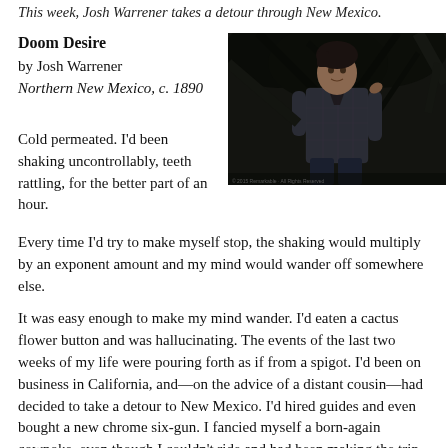This week, Josh Warrener takes a detour through New Mexico.
Doom Desire
by Josh Warrener
Northern New Mexico, c. 1890
[Figure (photo): A man in a plaid shirt standing among dark trees at night]
Cold permeated. I'd been shaking uncontrollably, teeth rattling, for the better part of an hour. Every time I'd try to make myself stop, the shaking would multiply by an exponent amount and my mind would wander off somewhere else.
It was easy enough to make my mind wander. I'd eaten a cactus flower button and was hallucinating. The events of the last two weeks of my life were pouring forth as if from a spigot. I'd been on business in California, and—on the advice of a distant cousin—had decided to take a detour to New Mexico. I'd hired guides and even bought a new chrome six-gun. I fancied myself a born-again cowpoke, even though I couldn't ride and had been making the trip astride a mule.
The guides, Willis James and Ambrose Newsome, were based in San